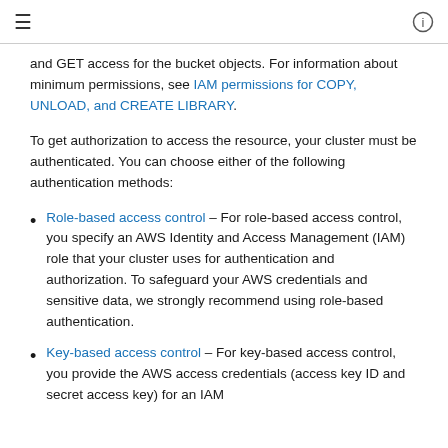≡  ⓘ
and GET access for the bucket objects. For information about minimum permissions, see IAM permissions for COPY, UNLOAD, and CREATE LIBRARY.
To get authorization to access the resource, your cluster must be authenticated. You can choose either of the following authentication methods:
Role-based access control – For role-based access control, you specify an AWS Identity and Access Management (IAM) role that your cluster uses for authentication and authorization. To safeguard your AWS credentials and sensitive data, we strongly recommend using role-based authentication.
Key-based access control – For key-based access control, you provide the AWS access credentials (access key ID and secret access key) for an IAM